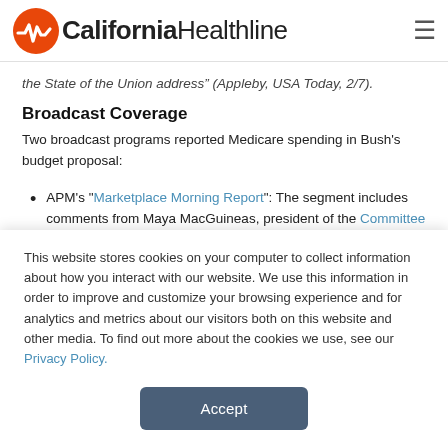California Healthline
the State of the Union address (Appleby, USA Today, 2/7).
Broadcast Coverage
Two broadcast programs reported Medicare spending in Bush's budget proposal:
APM's "Marketplace Morning Report": The segment includes comments from Maya MacGuineas, president of the Committee for a Responsible Federal Budget (Wicai, "Marketplace Morning Report," APM
This website stores cookies on your computer to collect information about how you interact with our website. We use this information in order to improve and customize your browsing experience and for analytics and metrics about our visitors both on this website and other media. To find out more about the cookies we use, see our Privacy Policy.